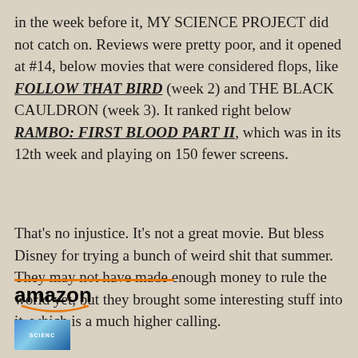in the week before it, MY SCIENCE PROJECT did not catch on. Reviews were pretty poor, and it opened at #14, below movies that were considered flops, like FOLLOW THAT BIRD (week 2) and THE BLACK CAULDRON (week 3). It ranked right below RAMBO: FIRST BLOOD PART II, which was in its 12th week and playing on 150 fewer screens.
That's no injustice. It's not a great movie. But bless Disney for trying a bunch of weird shit that summer. They may not have made enough money to rule the world yet, but they brought some interesting stuff into it, which is a much higher calling.
[Figure (logo): Amazon logo with orange arrow smile beneath, followed by partial book cover thumbnail with 'SCIENCE' text visible]